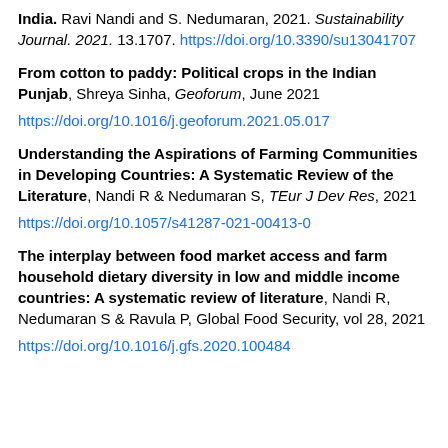India. Ravi Nandi and S. Nedumaran, 2021. Sustainability Journal. 2021. 13.1707. https://doi.org/10.3390/su13041707
From cotton to paddy: Political crops in the Indian Punjab, Shreya Sinha, Geoforum, June 2021
https://doi.org/10.1016/j.geoforum.2021.05.017
Understanding the Aspirations of Farming Communities in Developing Countries: A Systematic Review of the Literature, Nandi R & Nedumaran S, TEur J Dev Res, 2021
https://doi.org/10.1057/s41287-021-00413-0
The interplay between food market access and farm household dietary diversity in low and middle income countries: A systematic review of literature, Nandi R, Nedumaran S & Ravula P, Global Food Security, vol 28, 2021
https://doi.org/10.1016/j.gfs.2020.100484